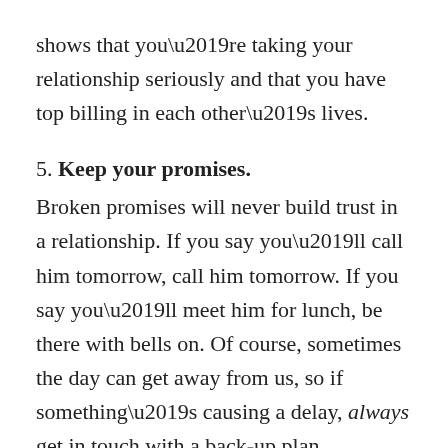shows that you’re taking your relationship seriously and that you have top billing in each other’s lives.
5. Keep your promises.
Broken promises will never build trust in a relationship. If you say you’ll call him tomorrow, call him tomorrow. If you say you’ll meet him for lunch, be there with bells on. Of course, sometimes the day can get away from us, so if something’s causing a delay, always get in touch with a back-up plan. Don’t be a flake – a little effort goes a long way.
6. Be yourself all the time.
Face it: Eventually you’re going to have to let go of